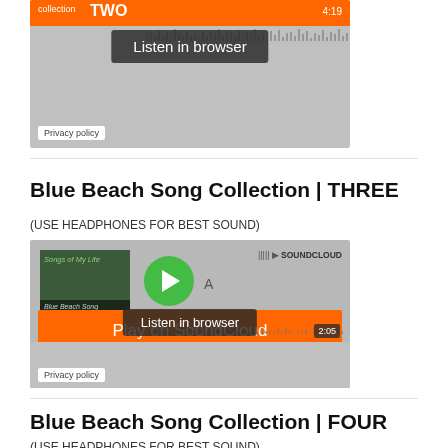[Figure (screenshot): SoundCloud embedded player for Blue Beach Song Collection TWO, showing orange progress bar, Listen in browser button, waveform, and Privacy policy tag. Time shows 4:19.]
Blue Beach Song Collection | THREE
(USE HEADPHONES FOR BEST SOUND)
[Figure (screenshot): SoundCloud embedded player for Blue Beach Song Collection THREE, showing album art 'Songs of My Life', green play button, Play on SoundCloud orange overlay, Listen in browser button, time 2:05, and Privacy policy tag.]
Blue Beach Song Collection | FOUR
(USE HEADPHONES FOR BEST SOUND)